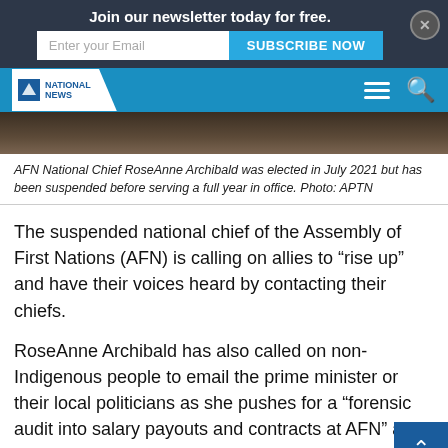Join our newsletter today for free.
National News
[Figure (photo): Photo of AFN National Chief RoseAnne Archibald, partial image showing dark clothing, cropped at top]
AFN National Chief RoseAnne Archibald was elected in July 2021 but has been suspended before serving a full year in office. Photo: APTN
The suspended national chief of the Assembly of First Nations (AFN) is calling on allies to “rise up” and have their voices heard by contacting their chiefs.
RoseAnne Archibald has also called on non-Indigenous people to email the prime minister or their local politicians as she pushes for a “forensic audit into salary payouts and contracts at AFN” an independent investigation into alleged